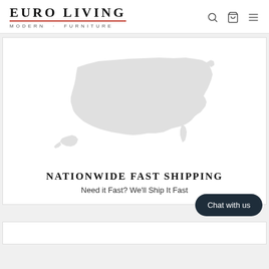EURO LIVING — MODERN · FURNITURE
[Figure (map): Silhouette map of the contiguous United States in light gray, with Alaska shown at lower left]
NATIONWIDE FAST SHIPPING
Need it Fast? We'll Ship It Fast
Chat with us